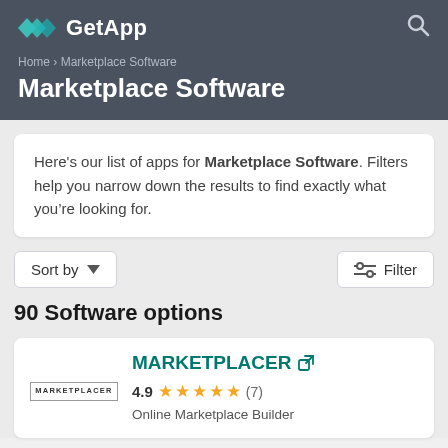GetApp
Marketplace Software
Here's our list of apps for Marketplace Software. Filters help you narrow down the results to find exactly what you're looking for.
Sort by   Filter
90 Software options
MARKETPLACER
4.9 (7)
Online Marketplace Builder